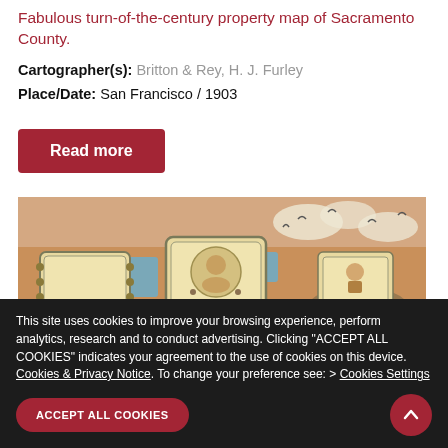J. C. Boyd, County Surveyor: 1903
Fabulous turn-of-the-century property map of Sacramento County.
Cartographer(s): Britton & Rey, H. J. Furley
Place/Date: San Francisco / 1903
Read more
[Figure (map): Decorative cartouche section of a turn-of-the-century property map of Sacramento County, showing illustrated vignettes with figures and ornate borders in muted orange, blue, and green tones.]
This site uses cookies to improve your browsing experience, perform analytics, research and to conduct advertising. Clicking "ACCEPT ALL COOKIES" indicates your agreement to the use of cookies on this device. Cookies & Privacy Notice. To change your preference see: > Cookies Settings
ACCEPT ALL COOKIES